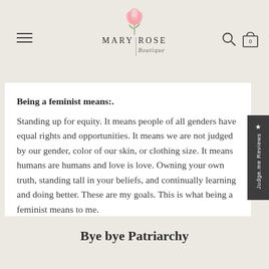[Figure (logo): Mary Rose Boutique logo with pink rose illustration above the text MARY ROSE Boutique]
Being a feminist means:. Standing up for equity. It means people of all genders have equal rights and opportunities. It means we are not judged by our gender, color of our skin, or clothing size. It means humans are humans and love is love. Owning your own truth, standing tall in your beliefs, and continually learning and doing better. These are my goals. This is what being a feminist means to me.
Bye bye Patriarchy